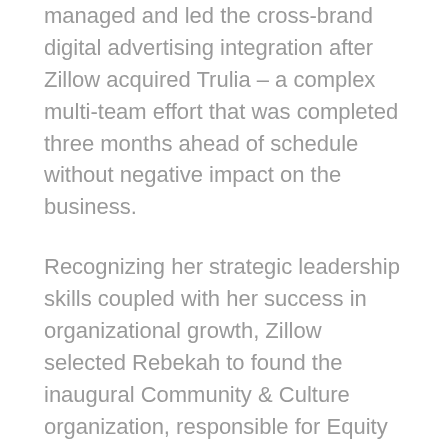managed and led the cross-brand digital advertising integration after Zillow acquired Trulia – a complex multi-team effort that was completed three months ahead of schedule without negative impact on the business.
Recognizing her strategic leadership skills coupled with her success in organizational growth, Zillow selected Rebekah to found the inaugural Community & Culture organization, responsible for Equity & Belonging, Cultural Engagement, and Social Impact Products. This transition proved Rebekah's effectiveness as an operator and a leader across the business, from products to people.
Rebekah has served on several nonprofit boards, currently serving as secretary of the board of